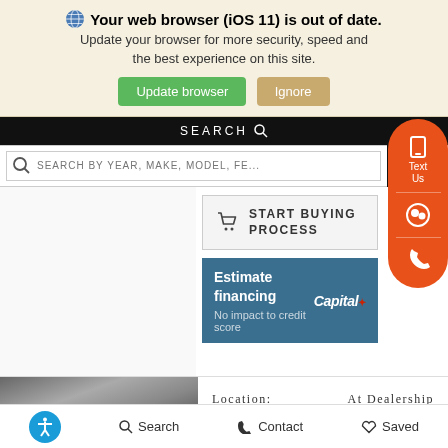Your web browser (iOS 11) is out of date. Update your browser for more security, speed and the best experience on this site.
[Figure (screenshot): Browser update notification banner with Update browser (green) and Ignore (tan) buttons]
[Figure (screenshot): Website search bar with SEARCH BY YEAR, MAKE, MODEL, FE... placeholder and REFI button]
[Figure (screenshot): Start Buying Process button with cart icon]
[Figure (screenshot): Estimate financing panel with Capital One logo, No impact to credit score text]
[Figure (screenshot): Floating orange sidebar with phone, chat, and call icons labeled Text Us]
Location:    At Dealership
[Figure (screenshot): Bottom navigation bar with accessibility, Search, Contact, and Saved icons]